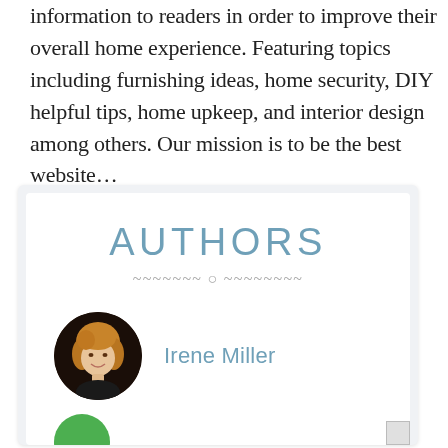information to readers in order to improve their overall home experience. Featuring topics including furnishing ideas, home security, DIY helpful tips, home upkeep, and interior design among others. Our mission is to be the best website...
AUTHORS
~~~~~~~ o ~~~~~~~~
[Figure (photo): Circular portrait photo of Irene Miller, a woman with blonde hair wearing a dark top]
Irene Miller
[Figure (photo): Partial circular avatar in green color at the bottom of the page]